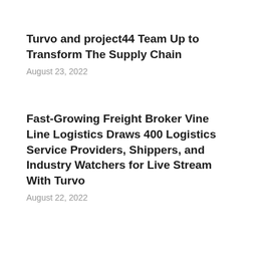Turvo and project44 Team Up to Transform The Supply Chain
August 23, 2022
Fast-Growing Freight Broker Vine Line Logistics Draws 400 Logistics Service Providers, Shippers, and Industry Watchers for Live Stream With Turvo
August 22, 2022